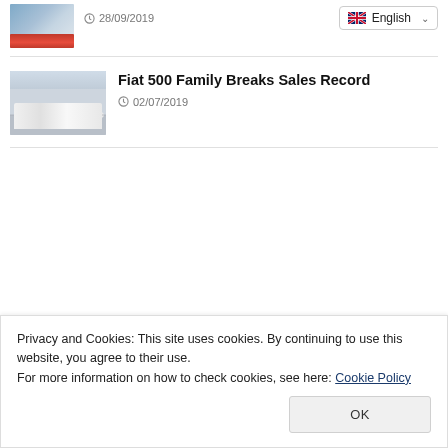[Figure (photo): Small thumbnail of a red car, partially visible]
28/09/2019
English
[Figure (photo): Showroom with multiple white Fiat 500 cars displayed]
Fiat 500 Family Breaks Sales Record
02/07/2019
Privacy and Cookies: This site uses cookies. By continuing to use this website, you agree to their use.
For more information on how to check cookies, see here: Cookie Policy